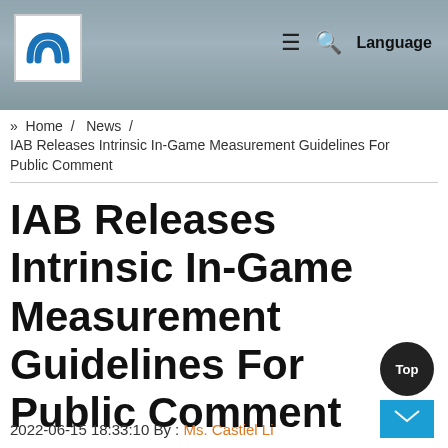[Figure (screenshot): Website header with logo (stylized M in blue/white square), background image of a building exterior, hamburger menu icon, search icon, and Language text on the right.]
» Home / News / IAB Releases Intrinsic In-Game Measurement Guidelines For Public Comment
IAB Releases Intrinsic In-Game Measurement Guidelines For Public Comment
2022-06-15 18:33:10 By : Ms. Castiel Li